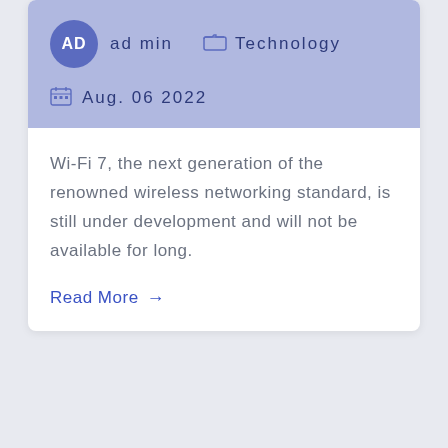admin   Technology   Aug. 06 2022
Wi-Fi 7, the next generation of the renowned wireless networking standard, is still under development and will not be available for long.
Read More →